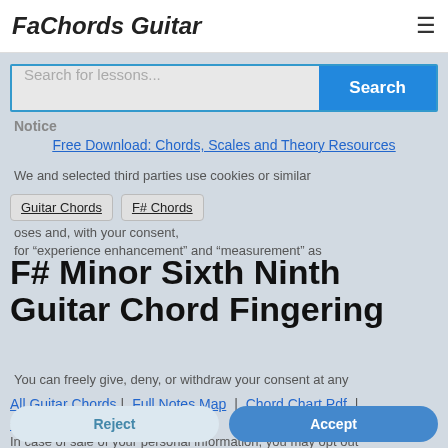FaChords Guitar
[Figure (screenshot): Search bar with placeholder 'Search for lessons...' and a blue Search button]
Notice
Free Download: Chords, Scales and Theory Resources
We and selected third parties use cookies or similar
Guitar Chords
F# Chords
oses and, with your consent, for "experience enhancement" and "measurement" as
F# Minor Sixth Ninth Guitar Chord Fingering
You can freely give, deny, or withdraw your consent at any
All Guitar Chords | Full Notes Map | Chord Chart Pdf | Interactive Chord Finder
time.
In case of sale of your personal information, you may opt out
[Figure (photo): Hand fingering guitar chord with fingers numbered 1, 2, 3, 4]
The intervals in this chord are Root, Minor Third,